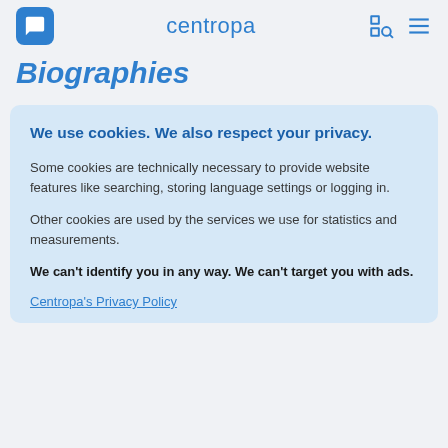centropa
Biographies
We use cookies. We also respect your privacy.
Some cookies are technically necessary to provide website features like searching, storing language settings or logging in.
Other cookies are used by the services we use for statistics and measurements.
We can't identify you in any way. We can't target you with ads.
Centropa's Privacy Policy